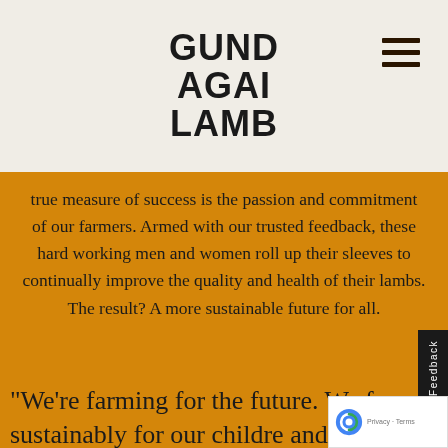GUND
AGAI
LAMB
true measure of success is the passion and commitment of our farmers. Armed with our trusted feedback, these hard working men and women roll up their sleeves to continually improve the quality and health of their lambs. The result? A more sustainable future for all.
“We’re farming for the future. We farm sustainably for our children and their children. We can’t abuse